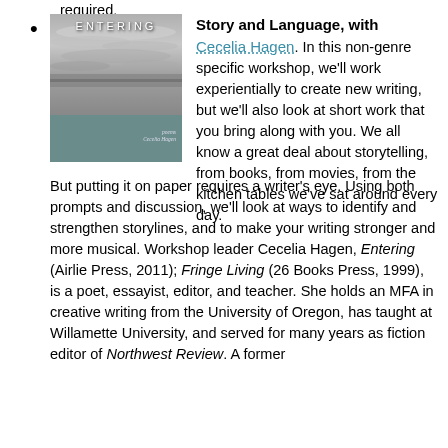required.
Story and Language, with Cecelia Hagen. In this non-genre specific workshop, we'll work experientially to create new writing, but we'll also look at short work that you bring along with you. We all know a great deal about storytelling, from books, from movies, from the kitchen tables we've sat around every day. But putting it on paper requires a writer's eye. Using both prompts and discussion, we'll look at ways to identify and strengthen storylines, and to make your writing stronger and more musical. Workshop leader Cecelia Hagen, Entering (Airlie Press, 2011); Fringe Living (26 Books Press, 1999), is a poet, essayist, editor, and teacher. She holds an MFA in creative writing from the University of Oregon, has taught at Willamette University, and served for many years as fiction editor of Northwest Review. A former
[Figure (illustration): Book cover of 'Entering' by Cecelia Hagen. Black and white landscape with dramatic clouds and water/horizon. Teal-colored bottom strip with author name.]